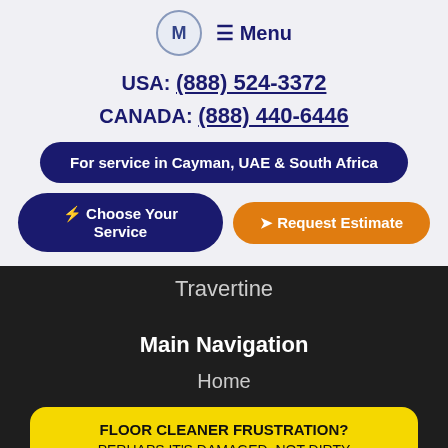[Figure (logo): M letter logo in circle with menu hamburger icon and Menu label]
USA: (888) 524-3372
CANADA: (888) 440-6446
For service in Cayman, UAE & South Africa
⚡ Choose Your Service
➤ Request Estimate
Travertine
Main Navigation
Home
FLOOR CLEANER FRUSTRATION?
PERHAPS IT'S DAMAGED, NOT DIRTY
SEE IMAGES HERE
Products